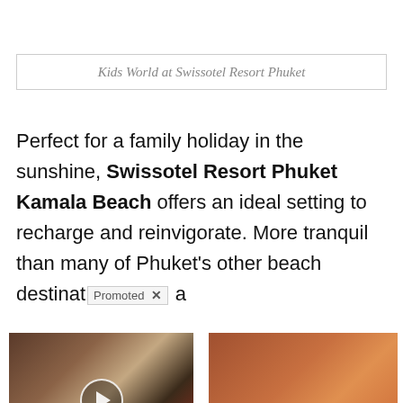Kids World at Swissotel Resort Phuket
Perfect for a family holiday in the sunshine, Swissotel Resort Phuket Kamala Beach offers an ideal setting to recharge and reinvigorate. More tranquil than many of Phuket's other beach destinations a
[Figure (photo): Promoted ad: photo of two people (resembling political figures), with a video play button overlay. Caption: Democrats Want This Video Destroyed — Watch Now Before It's Banned. Count: 173,654]
[Figure (photo): Promoted ad: photo of a person's midsection and a spoon with spice/powder. Caption: Just 1 Teaspoon Burns Belly Fat Like Crazy! Count: 610]